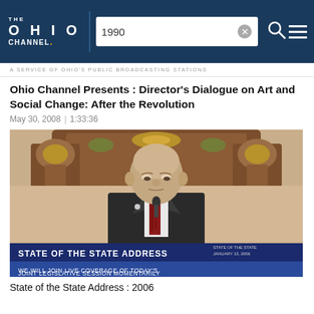THE OHIO CHANNEL — search bar showing '1990'
A SERVICE OF OHIO'S PUBLIC BROADCASTING STATIONS
Ohio Channel Presents : Director's Dialogue on Art and Social Change: After the Revolution
May 30, 2008  |  1:33:36
[Figure (photo): Video thumbnail showing an elderly bald man in a dark suit seated at an ornate wooden chair/podium, with lower-third graphics reading 'STATE OF THE STATE ADDRESS' and 'WE WILL JOIN LIVE COVERAGE OF TODAY'S JOINT LEGISLATIVE SESSION MOMENTARILY']
State of the State Address : 2006